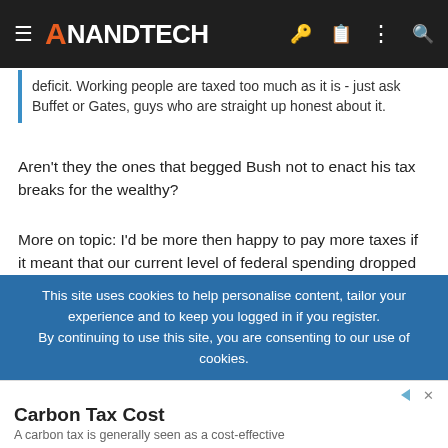AnandTech
deficit. Working people are taxed too much as it is - just ask Buffet or Gates, guys who are straight up honest about it.
Aren't they the ones that begged Bush not to enact his tax breaks for the wealthy?
More on topic: I'd be more then happy to pay more taxes if it meant that our current level of federal spending dropped and we began to pay down significant portions of the debt. Somehow though, I do not think this will be the case.
Carmen813
Diamond Member
This site uses cookies to help personalise content, tailor your experience and to keep you logged in if you register.
By continuing to use this site, you are consenting to our use of cookies.
Carbon Tax Cost
A carbon tax is generally seen as a cost-effective